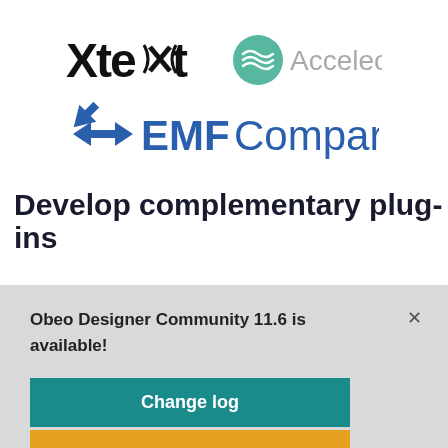[Figure (logo): Xtext logo - stylized text with X shape]
[Figure (logo): Acceleo logo - green circle with wave lines and text]
[Figure (logo): EMF Compare logo - blue X arrow icon with text EMF Compare]
Develop complementary plug-ins
Obeo Designer Community 11.6 is available!
Change log